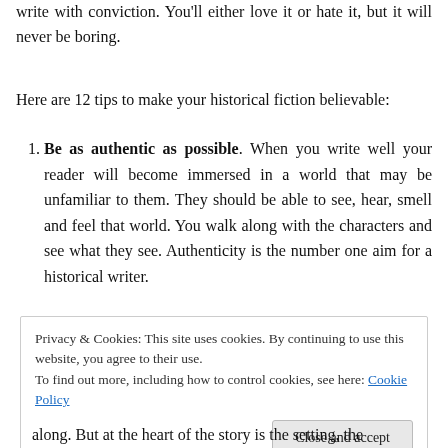write with conviction. You'll either love it or hate it, but it will never be boring.
Here are 12 tips to make your historical fiction believable:
Be as authentic as possible. When you write well your reader will become immersed in a world that may be unfamiliar to them. They should be able to see, hear, smell and feel that world. You walk along with the characters and see what they see. Authenticity is the number one aim for a historical writer.
Privacy & Cookies: This site uses cookies. By continuing to use this website, you agree to their use.
To find out more, including how to control cookies, see here: Cookie Policy
along. But at the heart of the story is the setting, the